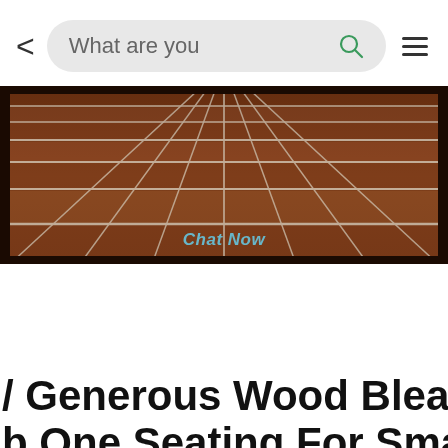[Figure (screenshot): Mobile app navigation bar with back arrow, search box showing 'What are you', search icon, and hamburger menu icon]
[Figure (photo): Overhead view of brown/mahogany wood bleacher seating with white grid lines, showing the planks from an angle. A 'Chat Now' watermark is visible in light blue text.]
/ Generous Wood Bleacher Seat
b One Seating For Small...